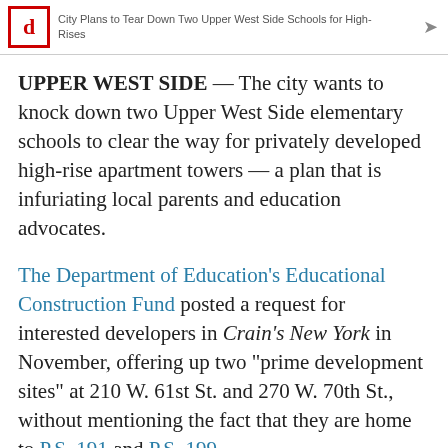City Plans to Tear Down Two Upper West Side Schools for High-Rises
UPPER WEST SIDE — The city wants to knock down two Upper West Side elementary schools to clear the way for privately developed high-rise apartment towers — a plan that is infuriating local parents and education advocates.
The Department of Education's Educational Construction Fund posted a request for interested developers in Crain's New York in November, offering up two "prime development sites" at 210 W. 61st St. and 270 W. 70th St., without mentioning the fact that they are home to P.S. 191 and P.S. 199.
A formal request for expressions of interest lauded the